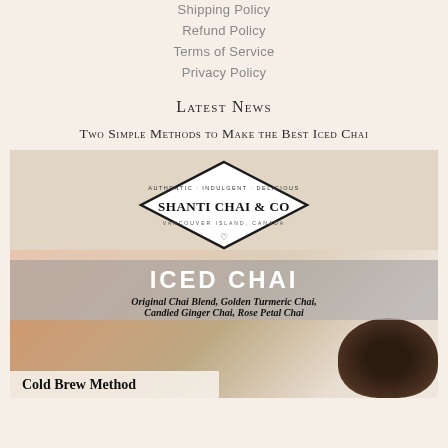Shipping Policy
Refund Policy
Terms of Service
Privacy Policy
Latest News
Two Simple Methods to Make the Best Iced Chai
[Figure (photo): Promotional image for Shanti Chai & Co showing a glass of iced chai with ice cubes, a bowl of tea leaves, the Shanti Chai & Co diamond logo, and text overlays reading 'Iced Chai', flavor varieties, and 'Cold Brew Method']